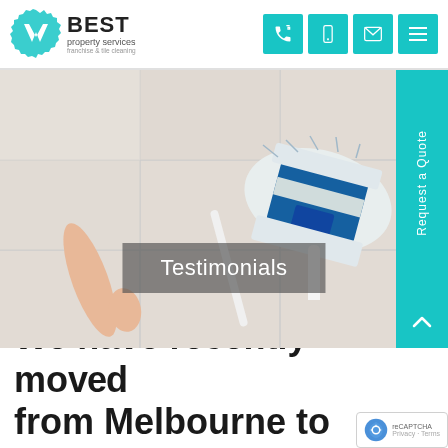[Figure (logo): VBest Property Services logo with gear/shield icon]
[Figure (infographic): Navigation icons: phone, mobile, email, menu on teal background]
[Figure (photo): Hero banner showing a hand holding a mop cleaning a tiled floor, with Testimonials overlay text and Request a Quote sidebar button]
Testimonials
We have recently moved from Melbourne to Hol